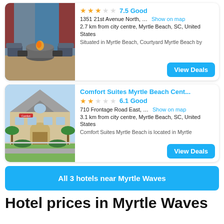[Figure (photo): Hotel interior with firepit and lounge seating]
7.5 Good
1351 21st Avenue North, ... Show on map
2.7 km from city centre, Myrtle Beach, SC, United States
Situated in Myrtle Beach, Courtyard Myrtle Beach by
View Deals
Comfort Suites Myrtle Beach Cent...
[Figure (photo): Comfort Suites hotel exterior building]
6.1 Good
710 Frontage Road East, ... Show on map
3.1 km from city centre, Myrtle Beach, SC, United States
Comfort Suites Myrtle Beach is located in Myrtle
View Deals
All 3 hotels near Myrtle Waves
Hotel prices in Myrtle Waves